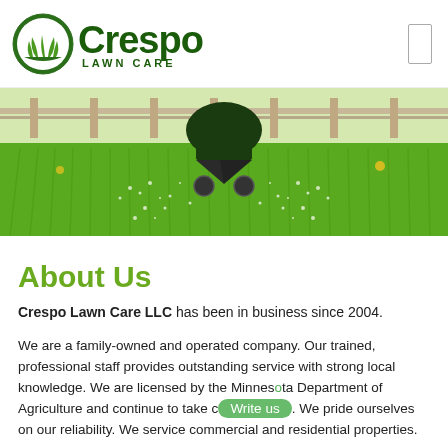[Figure (logo): Crespo Lawn Care logo with green circular emblem and green text reading 'Crespo LAWN CARE']
[Figure (photo): A fertilizer spreader broadcasting granules across a lush green lawn with a fence in the background]
About Us
Crespo Lawn Care LLC has been in business since 2004.
We are a family-owned and operated company. Our trained, professional staff provides outstanding service with strong local knowledge. We are licensed by the Minnesota Department of Agriculture and continue to take ... We pride ourselves on our reliability. We service commercial and residential properties.